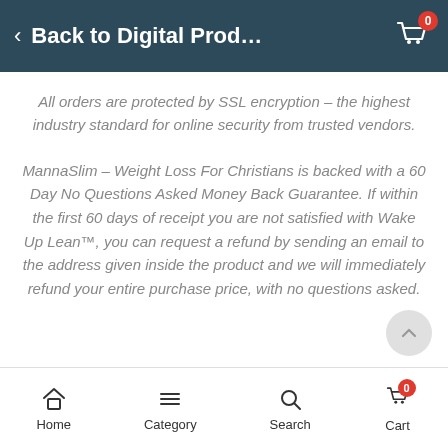Back to Digital Prod...
All orders are protected by SSL encryption – the highest industry standard for online security from trusted vendors.
MannaSlim – Weight Loss For Christians is backed with a 60 Day No Questions Asked Money Back Guarantee. If within the first 60 days of receipt you are not satisfied with Wake Up Lean™, you can request a refund by sending an email to the address given inside the product and we will immediately refund your entire purchase price, with no questions asked.
Home  Category  Search  Cart